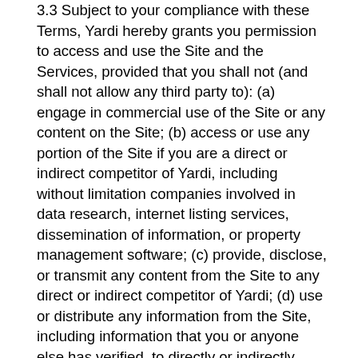3.3 Subject to your compliance with these Terms, Yardi hereby grants you permission to access and use the Site and the Services, provided that you shall not (and shall not allow any third party to): (a) engage in commercial use of the Site or any content on the Site; (b) access or use any portion of the Site if you are a direct or indirect competitor of Yardi, including without limitation companies involved in data research, internet listing services, dissemination of information, or property management software; (c) provide, disclose, or transmit any content from the Site to any direct or indirect competitor of Yardi; (d) use or distribute any information from the Site, including information that you or anyone else has verified, to directly or indirectly create or contribute to the development of any database or product; (e) reproduce, copy, display, store, perform, re-post, publish, transmit, distribute, sell, offer for sale, license, modify, create derivative works, or otherwise use any portion of the content offered on the Site for other than your own personal, non-commercial use, store, copy or export any portion of the Site into any database or other software; (f) remove any copyright, trademark or other proprietary rights notices contained in or on the Site or Service or in or on any content or other material obtained via the Site or the Services; (g) use any robot, spider, site search/retrieval application, or other automated device,